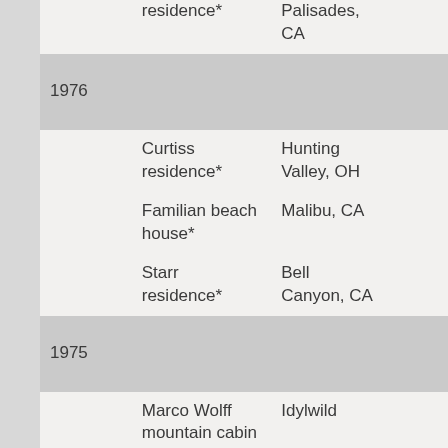| Year | Name | Location |  |
| --- | --- | --- | --- |
|  | residence* | Palisades, CA |  |
| 1976 |  |  |  |
|  | Curtiss residence* | Hunting Valley, OH |  |
|  | Familian beach house* | Malibu, CA |  |
|  | Starr residence* | Bell Canyon, CA |  |
| 1975 |  |  |  |
|  | Marco Wolff mountain cabin | Idylwild |  |
|  | Burrell Ranch* | Grayson County |  |